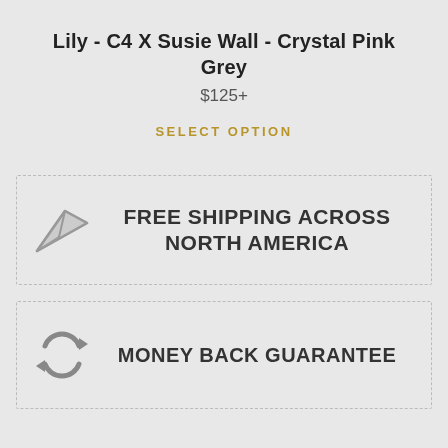Lily - C4 X Susie Wall - Crystal Pink Grey
$125+
SELECT OPTION
FREE SHIPPING ACROSS NORTH AMERICA
MONEY BACK GUARANTEE